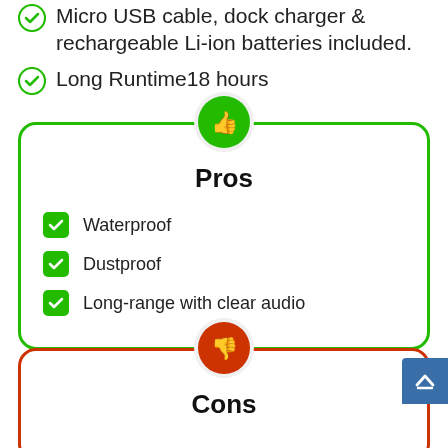Micro USB cable, dock charger & rechargeable Li-ion batteries included.
Long Runtime18 hours
Pros
Waterproof
Dustproof
Long-range with clear audio
Cons